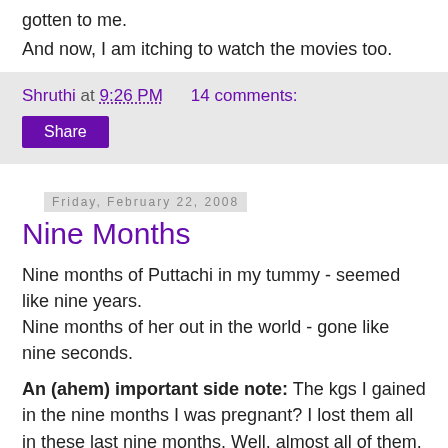gotten to me.
And now, I am itching to watch the movies too.
Shruthi at 9:26 PM    14 comments:
Share
Friday, February 22, 2008
Nine Months
Nine months of Puttachi in my tummy - seemed like nine years.
Nine months of her out in the world - gone like nine seconds.
An (ahem) important side note: The kgs I gained in the nine months I was pregnant? I lost them all in these last nine months. Well, almost all of them. Just one more kg to go. No, I did nothing for this to happen, not even raise my little finger (Though I should have). It just happened.